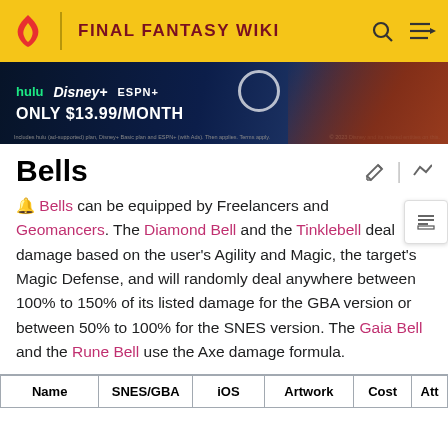FINAL FANTASY WIKI
[Figure (screenshot): Advertisement banner for Disney+, Hulu, and ESPN+ bundle at $13.99/month]
Bells
Bells can be equipped by Freelancers and Geomancers. The Diamond Bell and the Tinklebell deal damage based on the user's Agility and Magic, the target's Magic Defense, and will randomly deal anywhere between 100% to 150% of its listed damage for the GBA version or between 50% to 100% for the SNES version. The Gaia Bell and the Rune Bell use the Axe damage formula.
| Name | SNES/GBA | iOS | Artwork | Cost | Att |
| --- | --- | --- | --- | --- | --- |